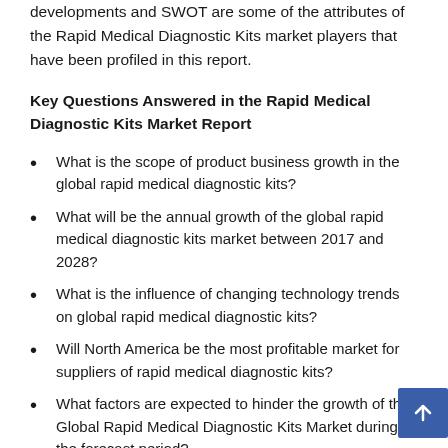developments and SWOT are some of the attributes of the Rapid Medical Diagnostic Kits market players that have been profiled in this report.
Key Questions Answered in the Rapid Medical Diagnostic Kits Market Report
What is the scope of product business growth in the global rapid medical diagnostic kits?
What will be the annual growth of the global rapid medical diagnostic kits market between 2017 and 2028?
What is the influence of changing technology trends on global rapid medical diagnostic kits?
Will North America be the most profitable market for suppliers of rapid medical diagnostic kits?
What factors are expected to hinder the growth of the Global Rapid Medical Diagnostic Kits Market during the forecast period?
Who are the world’s leading rapid medical diagnostic companies?